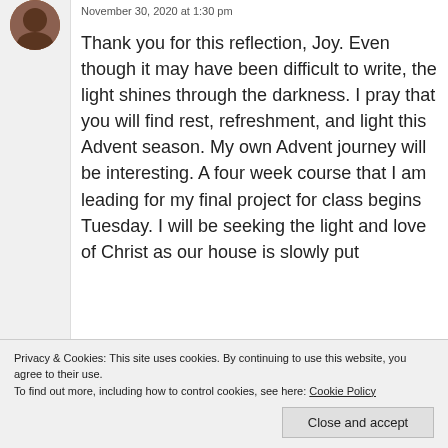November 30, 2020 at 1:30 pm
Thank you for this reflection, Joy. Even though it may have been difficult to write, the light shines through the darkness. I pray that you will find rest, refreshment, and light this Advent season. My own Advent journey will be interesting. A four week course that I am leading for my final project for class begins Tuesday. I will be seeking the light and love of Christ as our house is slowly put together. Much love to you, dear
Reply
Privacy & Cookies: This site uses cookies. By continuing to use this website, you agree to their use.
To find out more, including how to control cookies, see here: Cookie Policy
Close and accept